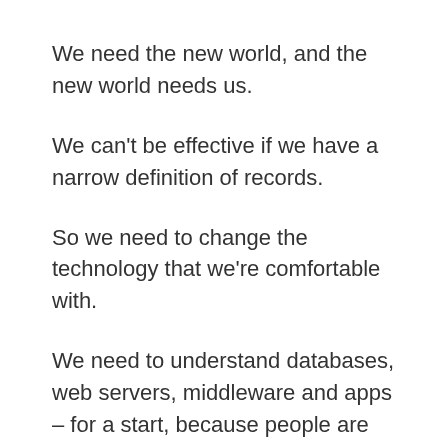We need the new world, and the new world needs us.
We can't be effective if we have a narrow definition of records.
So we need to change the technology that we're comfortable with.
We need to understand databases, web servers, middleware and apps – for a start, because people are relying on the information they provide every day of the week, and we can't abandon them to the idea that someone else MIGHT be able to reconstruct what they saw.
We need to change the technology we're comfortable